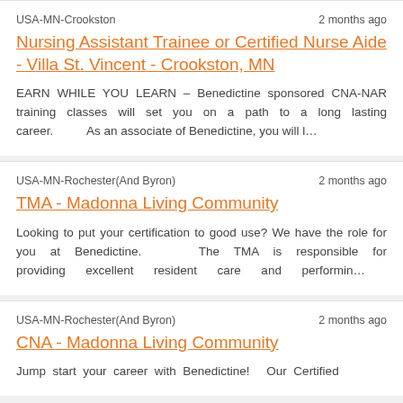USA-MN-Crookston	2 months ago
Nursing Assistant Trainee or Certified Nurse Aide - Villa St. Vincent - Crookston, MN
EARN WHILE YOU LEARN – Benedictine sponsored CNA-NAR training classes will set you on a path to a long lasting career.          As an associate of Benedictine, you will l…
USA-MN-Rochester(And Byron)	2 months ago
TMA - Madonna Living Community
Looking to put your certification to good use? We have the role for you at Benedictine.    The TMA is responsible for providing excellent resident care and performin…
USA-MN-Rochester(And Byron)	2 months ago
CNA - Madonna Living Community
Jump start your career with Benedictine!    Our Certified